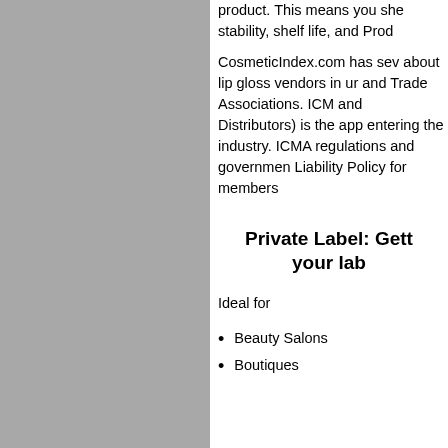product. This means you she stability, shelf life, and Prod
CosmeticIndex.com has sev about lip gloss vendors in ur and Trade Associations. ICM and Distributors) is the app entering the industry. ICMA regulations and governmen Liability Policy for members
Private Label: Gett your lab
Ideal for
Beauty Salons
Boutiques